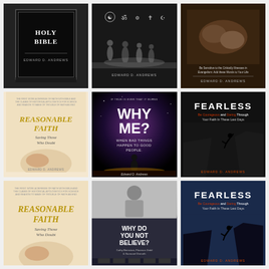[Figure (illustration): Book cover: Holy Bible by Edward D. Andrews, dark background with Bible book image]
[Figure (illustration): Book cover with religious symbols (yin-yang, om, Star of David, cross, crescent) and silhouettes of people praying, by Edward D. Andrews]
[Figure (illustration): Book cover with hands clasped, text about comparing religions, by Edward D. Andrews]
[Figure (illustration): Book cover: Reasonable Faith - Saving Those Who Doubt by Edward D. Andrews, cream/beige background with hands]
[Figure (illustration): Book cover: Why Me? When Bad Things Happen to Good People by Edward D. Andrews, dark purple/cosmic background]
[Figure (illustration): Book cover: Fearless - Be Courageous and Daring Through Your Faith In These Last Days by Edward D. Andrews, dark with silhouette leaping cliff]
[Figure (illustration): Book cover: Reasonable Faith - Saving Those Who Doubt by Edward D. Andrews (second edition variant)]
[Figure (illustration): Book cover: Why Do You Not Believe? with authors listed - dark/grey background]
[Figure (illustration): Book cover: Fearless - Be Courageous and Daring Through Your Faith In These Last Days (second variant)]